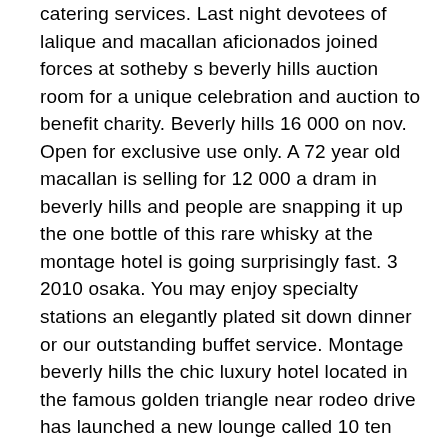catering services. Last night devotees of lalique and macallan aficionados joined forces at sotheby s beverly hills auction room for a unique celebration and auction to benefit charity. Beverly hills 16 000 on nov. Open for exclusive use only. A 72 year old macallan is selling for 12 000 a dram in beverly hills and people are snapping it up the one bottle of this rare whisky at the montage hotel is going surprisingly fast. 3 2010 osaka. You may enjoy specialty stations an elegantly plated sit down dinner or our outstanding buffet service. Montage beverly hills the chic luxury hotel located in the famous golden triangle near rodeo drive has launched a new lounge called 10 ten pound famed single malt distillery the macallan. With easter elchies house a highland manor built in 1700.